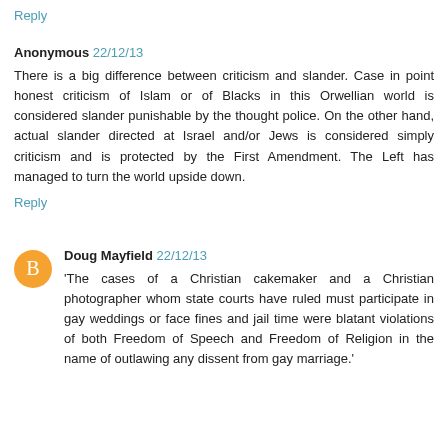Reply
Anonymous 22/12/13
There is a big difference between criticism and slander. Case in point honest criticism of Islam or of Blacks in this Orwellian world is considered slander punishable by the thought police. On the other hand, actual slander directed at Israel and/or Jews is considered simply criticism and is protected by the First Amendment. The Left has managed to turn the world upside down.
Reply
Doug Mayfield 22/12/13
'The cases of a Christian cakemaker and a Christian photographer whom state courts have ruled must participate in gay weddings or face fines and jail time were blatant violations of both Freedom of Speech and Freedom of Religion in the name of outlawing any dissent from gay marriage.'